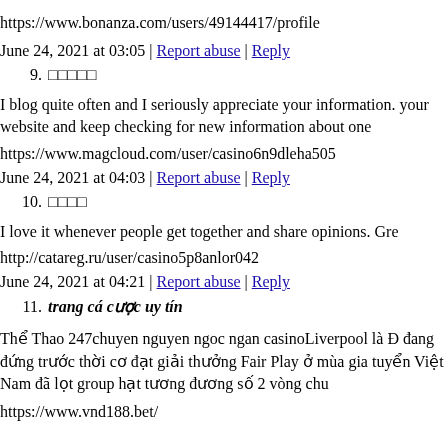https://www.bonanza.com/users/49144417/profile
June 24, 2021 at 03:05 | Report abuse | Reply
9. □□□□□
I blog quite often and I seriously appreciate your information. your website and keep checking for new information about one
https://www.magcloud.com/user/casino6n9dleha505
June 24, 2021 at 04:03 | Report abuse | Reply
10. □□□□
I love it whenever people get together and share opinions. Gre
http://catareg.ru/user/casino5p8anlor042
June 24, 2021 at 04:21 | Report abuse | Reply
11. trang cá cược uy tín
Thể Thao 247chuyen nguyen ngoc ngan casinoLiverpool là Đ đang đứng trước thời cơ đạt giải thưởng Fair Play ở mùa gia tuyển Việt Nam đã lọt group hạt tương đương số 2 vòng chu
https://www.vnd188.bet/